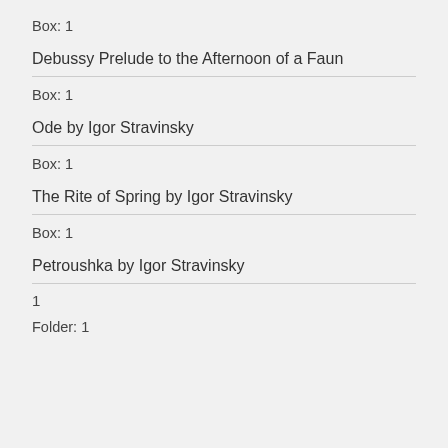Box: 1
Debussy Prelude to the Afternoon of a Faun
Box: 1
Ode by Igor Stravinsky
Box: 1
The Rite of Spring by Igor Stravinsky
Box: 1
Petroushka by Igor Stravinsky
1
Folder: 1